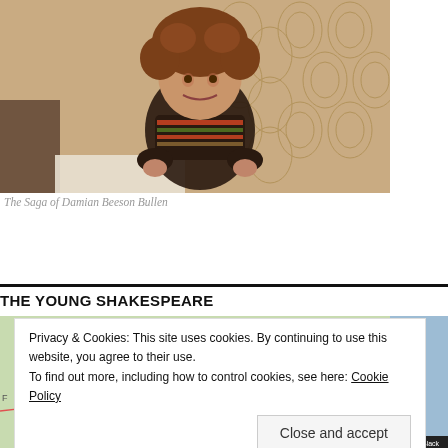[Figure (photo): A young curly-haired toddler sitting in front of ornate patterned wallpaper, wearing a striped sweater. Vintage photograph with warm sepia tones.]
The Saga of Damian Beeson Bullen
THE YOUNG SHAKESPEARE
Privacy & Cookies: This site uses cookies. By continuing to use this website, you agree to their use.
To find out more, including how to control cookies, see here: Cookie Policy
[Figure (map): A partial map showing European locations including Monaco, Sarajevo, Sofia, with colored route lines. Partial view cut off by cookie notice.]